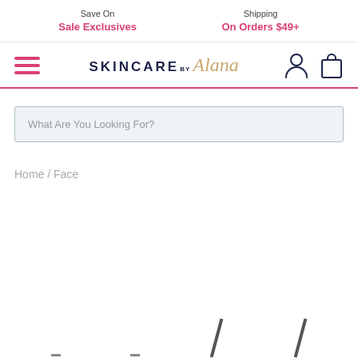Save On Sale Exclusives | Shipping On Orders $49+
[Figure (logo): SKINCARE by Alana logo with hamburger menu, user icon, and shopping bag icon]
What Are You Looking For?
Home / Face